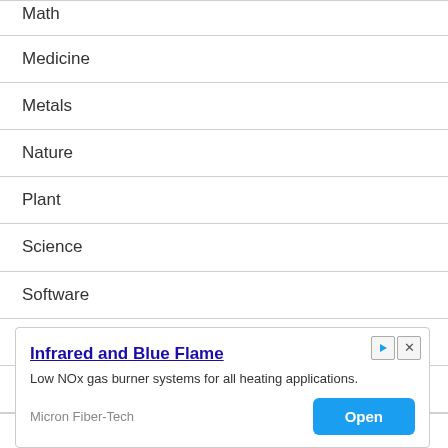Math
Medicine
Metals
Nature
Plant
Science
Software
Staples
Technology
Uncategorized
[Figure (other): Advertisement overlay: 'Infrared and Blue Flame' — Low NOx gas burner systems for all heating applications. Source: Micron Fiber-Tech. Open button.]